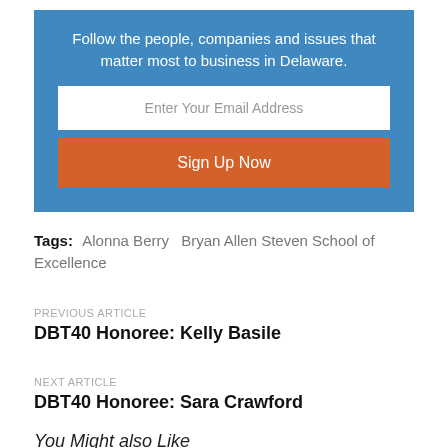Follow the people, companies and issues that matter most to business in Delaware.
Enter Your Email Address
Sign Up Now
Tags: Alonna Berry   Bryan Allen Steven School of Excellence
PREVIOUS ARTICLE
DBT40 Honoree: Kelly Basile
NEXT ARTICLE
DBT40 Honoree: Sara Crawford
You Might also Like